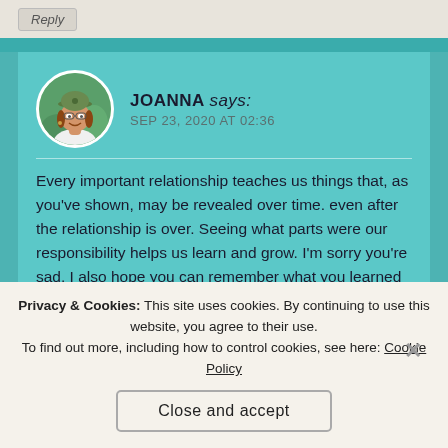Reply
JOANNA says:
SEP 23, 2020 AT 02:36
Every important relationship teaches us things that, as you've shown, may be revealed over time. even after the relationship is over. Seeing what parts were our responsibility helps us learn and grow. I'm sorry you're sad. I also hope you can remember what you learned and maybe even how your benefited from that experience and build on that.
Privacy & Cookies: This site uses cookies. By continuing to use this website, you agree to their use.
To find out more, including how to control cookies, see here: Cookie Policy
Close and accept